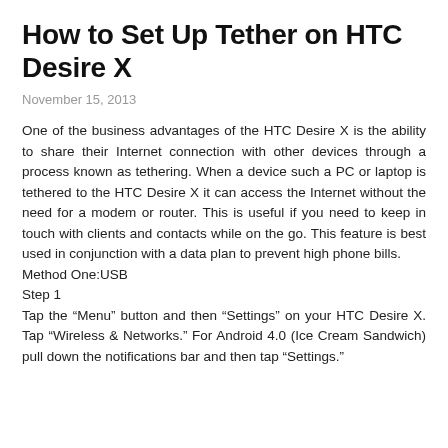How to Set Up Tether on HTC Desire X
November 15, 2013
One of the business advantages of the HTC Desire X is the ability to share their Internet connection with other devices through a process known as tethering. When a device such a PC or laptop is tethered to the HTC Desire X it can access the Internet without the need for a modem or router. This is useful if you need to keep in touch with clients and contacts while on the go. This feature is best used in conjunction with a data plan to prevent high phone bills.
Method One:USB
Step 1
Tap the “Menu” button and then “Settings” on your HTC Desire X. Tap “Wireless & Networks.” For Android 4.0 (Ice Cream Sandwich) pull down the notifications bar and then tap “Settings.”